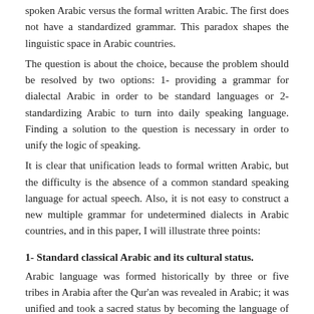spoken Arabic versus the formal written Arabic. The first does not have a standardized grammar. This paradox shapes the linguistic space in Arabic countries.
The question is about the choice, because the problem should be resolved by two options: 1- providing a grammar for dialectal Arabic in order to be standard languages or 2- standardizing Arabic to turn into daily speaking language. Finding a solution to the question is necessary in order to unify the logic of speaking.
It is clear that unification leads to formal written Arabic, but the difficulty is the absence of a common standard speaking language for actual speech. Also, it is not easy to construct a new multiple grammar for undetermined dialects in Arabic countries, and in this paper, I will illustrate three points:
1- Standard classical Arabic and its cultural status.
Arabic language was formed historically by three or five tribes in Arabia after the Qur'an was revealed in Arabic; it was unified and took a sacred status by becoming the language of the holy text.
After Islamic expansion in the times of Muhammad's